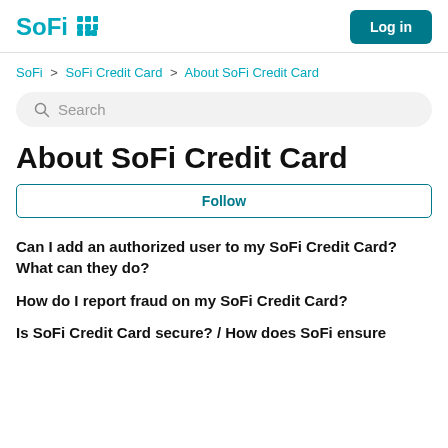SoFi | Log in
SoFi > SoFi Credit Card > About SoFi Credit Card
Search
About SoFi Credit Card
Follow
Can I add an authorized user to my SoFi Credit Card? What can they do?
How do I report fraud on my SoFi Credit Card?
Is SoFi Credit Card secure? / How does SoFi ensure